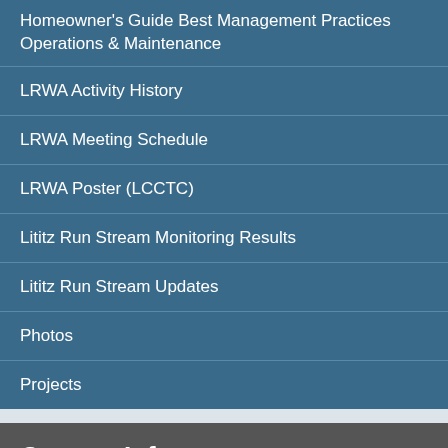Homeowner's Guide Best Management Practices Operations & Maintenance
LRWA Activity History
LRWA Meeting Schedule
LRWA Poster (LCCTC)
Lititz Run Stream Monitoring Results
Lititz Run Stream Updates
Photos
Projects
Contact Info
Phone:
(717) 626-8900